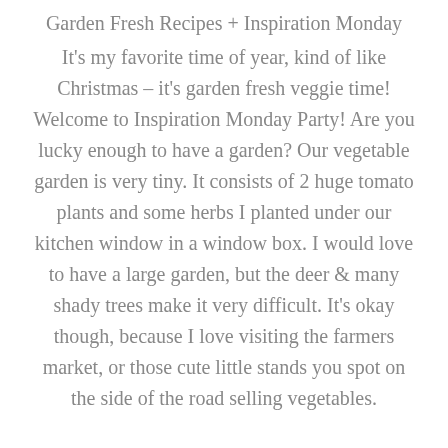Garden Fresh Recipes + Inspiration Monday
It's my favorite time of year, kind of like Christmas – it's garden fresh veggie time! Welcome to Inspiration Monday Party! Are you lucky enough to have a garden? Our vegetable garden is very tiny. It consists of 2 huge tomato plants and some herbs I planted under our kitchen window in a window box. I would love to have a large garden, but the deer & many shady trees make it very difficult. It's okay though, because I love visiting the farmers market, or those cute little stands you spot on the side of the road selling vegetables.